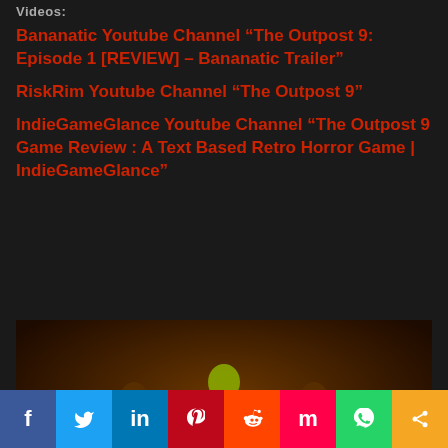Videos:
Bananatic Youtube Channel “The Outpost 9: Episode 1 [REVIEW] – Bananatic Trailer”
RiskRim Youtube Channel “The Outpost 9”
IndieGameGlance Youtube Channel “The Outpost 9 Game Review : A Text Based Retro Horror Game | IndieGameGlance”
[Figure (screenshot): Game screenshot showing three characters standing on a retro-style grid floor, with text at bottom reading MAYFIELD: Damn thing just about ripped that poor girl apart.]
f  Twitter  in  Pinterest  Reddit  Mix  WhatsApp  Share